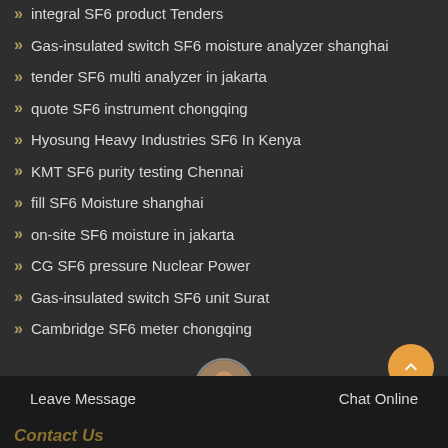integral SF6 product Tenders
Gas-insulated switch SF6 moisture analyzer shanghai
tender SF6 multi analyzer in jakarta
quote SF6 instrument chongqing
Hyosung Heavy Industries SF6 In Kenya
KMT SF6 purity testing Chennai
fill SF6 Moisture shanghai
on-site SF6 moisture in jakarta
CG SF6 pressure Nuclear Power
Gas-insulated switch SF6 unit Surat
Cambridge SF6 meter chongqing
Leave Message    Chat Online    Contact Us